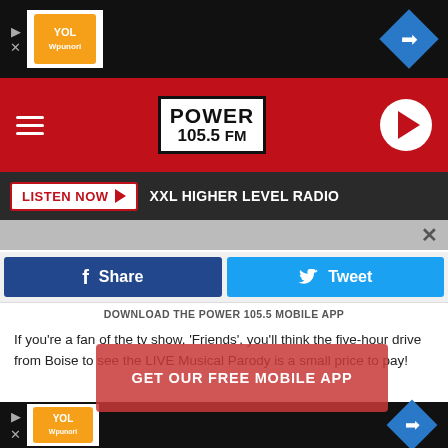[Figure (screenshot): Top ad banner with YOL logo and blue diamond arrow on black background]
[Figure (logo): Power 105.5 FM radio station header with hamburger menu, logo, and play button on red background]
LISTEN NOW  XXL HIGHER LEVEL RADIO
[Figure (screenshot): Partial image strip with close X icon]
Share   Tweet
DOWNLOAD THE POWER 105.5 MOBILE APP
If you're a fan of the tv show, 'Friends', you'll think the five-hour drive from Boise to see the LIVE Musical Parody is a small price to pay!
GET OUR FREE MOBILE APP
Close enough to where I'm seeing ads for this on Facebook, the 'Friends' musical parody will hit cities in Oregon and Washington this fall and winter and if you're a fan of the show, y... s looks e... a